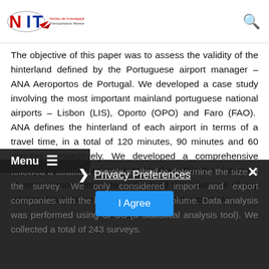[Figure (logo): NIT - Núcleo de Investigação em Transportes / Transportation Research Team logo with stylized N, I, T letters and a red/dark swoosh design]
The objective of this paper was to assess the validity of the hinterland defined by the Portuguese airport manager – ANA Aeroportos de Portugal. We developed a case study involving the most important mainland portuguese national airports – Lisbon (LIS), Oporto (OPO) and Faro (FAO). ANA defines the hinterland of each airport in terms of a travel time, in a total of 120 minutes, 90 minutes and 60 minutes, respectively. We developed a comprehensive survey to the companies located in the within the hinterland of every airport aiming to understand the existence of any relationship between them and the closest airport. We followed a stratified sample method to determine the size of the survey. We only considered import and export companies with the highest business volume. Data analysis was performed using SPSS (a statistical analysis tool). We collected a total of 243 surveys.